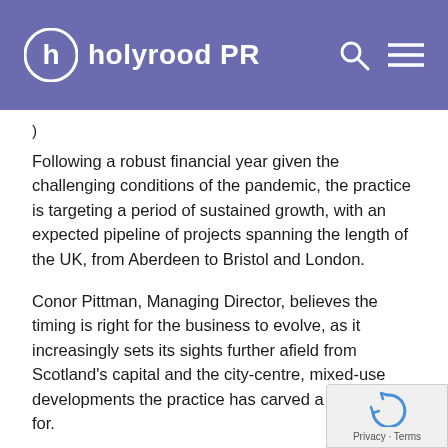holyrood PR
Following a robust financial year given the challenging conditions of the pandemic, the practice is targeting a period of sustained growth, with an expected pipeline of projects spanning the length of the UK, from Aberdeen to Bristol and London.
Conor Pittman, Managing Director, believes the timing is right for the business to evolve, as it increasingly sets its sights further afield from Scotland's capital and the city-centre, mixed-use developments the practice has carved a reputation for.
He said: “The core of the business will always be Edinburgh, working on the integration of